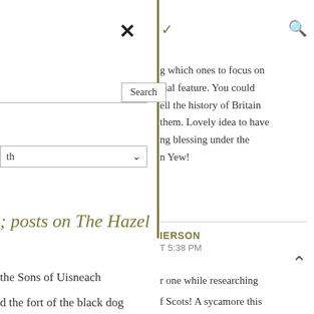[Figure (screenshot): X close button icon in top left area]
[Figure (screenshot): Checkmark icon and search magnifier icon in top right area]
g which ones to focus on cial feature. You could ell the history of Britain them. Lovely idea to have ng blessing under the n Yew!
[Figure (screenshot): Search input box with Search button]
[Figure (screenshot): Dropdown selector with arrow]
; posts on The Hazel
IERSON
T 5:38 PM
[Figure (screenshot): Up chevron / caret icon]
the Sons of Uisneach
d the fort of the black dog
r one while researching
f Scots! A sycamore this